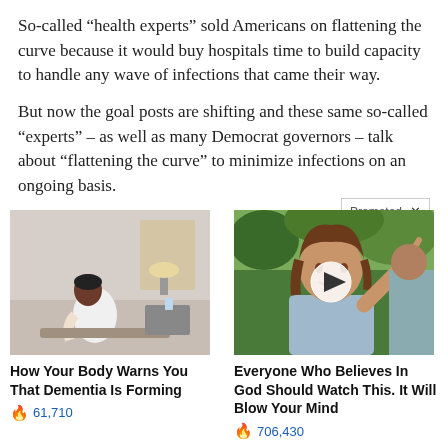So-called “health experts” sold Americans on flattening the curve because it would buy hospitals time to build capacity to handle any wave of infections that came their way.
But now the goal posts are shifting and these same so-called “experts” – as well as many Democrat governors – talk about “flattening the curve” to minimize infections on an ongoing basis.
If Donald Trump follows these so-calle
[Figure (screenshot): Promoted content bar with 'Promoted' label and X close button]
[Figure (photo): Elderly person sitting on bed, hunched over]
[Figure (photo): Woman pointing, with a video play button overlay]
How Your Body Warns You That Dementia Is Forming
🔥 61,710
Everyone Who Believes In God Should Watch This. It Will Blow Your Mind
🔥 706,430